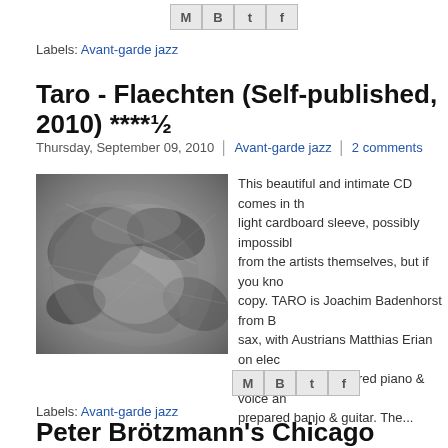[Figure (other): Share icons row: email (M), Blogger (B), Twitter (t), Facebook (f)]
Labels: Avant-garde jazz
Taro - Flaechten (Self-published, 2010) ****½
Thursday, September 09, 2010 | Avant-garde jazz | 2 comments
[Figure (photo): Black and white close-up abstract photo of metallic or organic twisted shapes]
This beautiful and intimate CD comes in th... light cardboard sleeve, possibly impossibl... from the artists themselves, but if you kno... copy. TARO is Joachim Badenhorst from B... sax, with Austrians Matthias Erian on elec... Schmoliner on prepared piano & voice an... prepared banjo & guitar. The...
[Figure (other): Share icons row: email (M), Blogger (B), Twitter (t), Facebook (f)]
Labels: Avant-garde jazz
Peter Brötzmann's Chicago Tentet +1 - 3 Nights In...